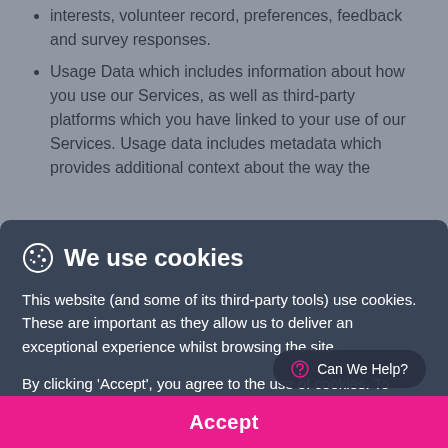interests, volunteer record, preferences, feedback and survey responses.
Usage Data which includes information about how you use our Services, as well as third-party platforms which you have linked to your use of our Services. Usage data includes metadata which provides additional context about the way the
We use cookies
This website (and some of its third-party tools) use cookies. These are important as they allow us to deliver an exceptional experience whilst browsing the site.
By clicking 'Accept', you agree to the use of cookies. To learn more see our Privacy Statement.